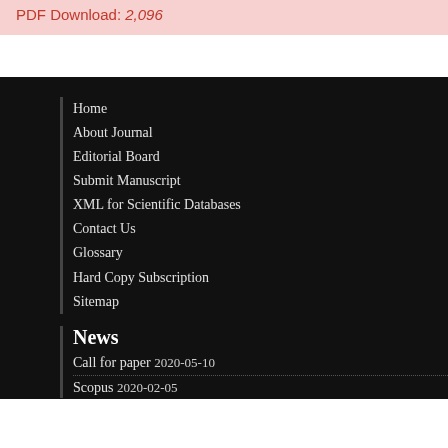PDF Download: 2,096
Home
About Journal
Editorial Board
Submit Manuscript
XML for Scientific Databases
Contact Us
Glossary
Hard Copy Subscription
Sitemap
News
Call for paper 2020-05-10
Scopus 2020-02-05